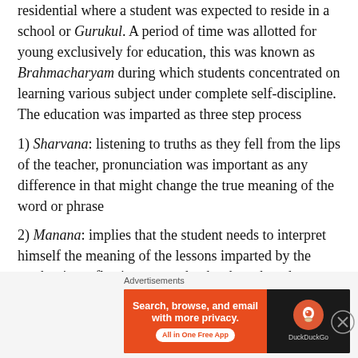residential where a student was expected to reside in a school or Gurukul. A period of time was allotted for young exclusively for education, this was known as Brahmacharyam during which students concentrated on learning various subject under complete self-discipline. The education was imparted as three step process
1) Sharvana: listening to truths as they fell from the lips of the teacher, pronunciation was important as any difference in that might change the true meaning of the word or phrase
2) Manana: implies that the student needs to interpret himself the meaning of the lessons imparted by the teacher i.e. reflecting upon what has been heard
[Figure (other): DuckDuckGo advertisement banner: 'Search, browse, and email with more privacy. All in One Free App' with DuckDuckGo logo on dark background]